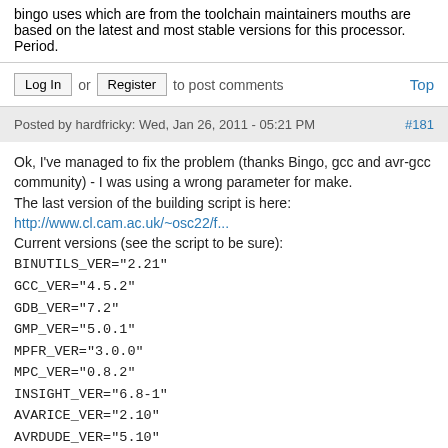bingo uses which are from the toolchain maintainers mouths are based on the latest and most stable versions for this processor.
Period.
Log In or Register to post comments   Top
Posted by hardfricky: Wed, Jan 26, 2011 - 05:21 PM  #181
Ok, I've managed to fix the problem (thanks Bingo, gcc and avr-gcc community) - I was using a wrong parameter for make.
The last version of the building script is here:
http://www.cl.cam.ac.uk/~osc22/f...
Current versions (see the script to be sure):
BINUTILS_VER="2.21"
GCC_VER="4.5.2"
GDB_VER="7.2"
GMP_VER="5.0.1"
MPFR_VER="3.0.0"
MPC_VER="0.8.2"
INSIGHT_VER="6.8-1"
AVARICE_VER="2.10"
AVRDUDE_VER="5.10"
AVRLIBC_VER="1.7.0"
Bingo if you (and others) find it useful, feel free to add it on the first page.